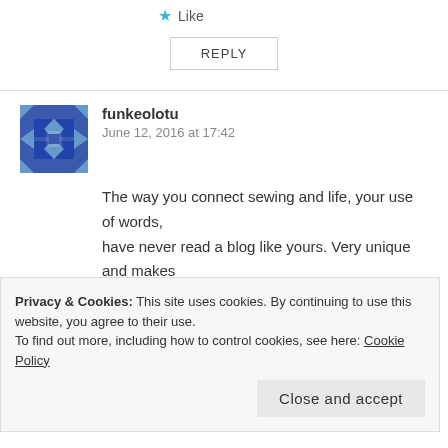Like
REPLY
funkeolotu
June 12, 2016 at 17:42
The way you connect sewing and life, your use of words, have never read a blog like yours. Very unique and makes me think alot
You sure are very right as always 😊
Liked by 1 person
REPLY
Privacy & Cookies: This site uses cookies. By continuing to use this website, you agree to their use.
To find out more, including how to control cookies, see here: Cookie Policy
Close and accept